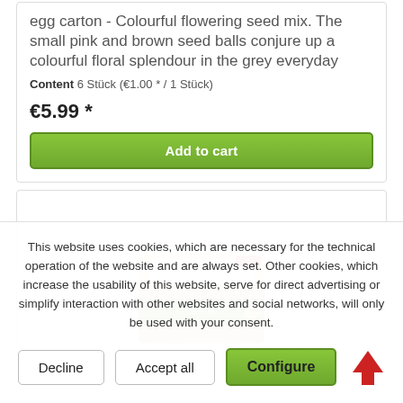egg carton - Colourful flowering seed mix. The small pink and brown seed balls conjure up a colourful floral splendour in the grey everyday
Content 6 Stück (€1.00 * / 1 Stück)
€5.99 *
Add to cart
[Figure (photo): Egg carton product with green and brown packaging, partially visible]
This website uses cookies, which are necessary for the technical operation of the website and are always set. Other cookies, which increase the usability of this website, serve for direct advertising or simplify interaction with other websites and social networks, will only be used with your consent.
Decline
Accept all
Configure